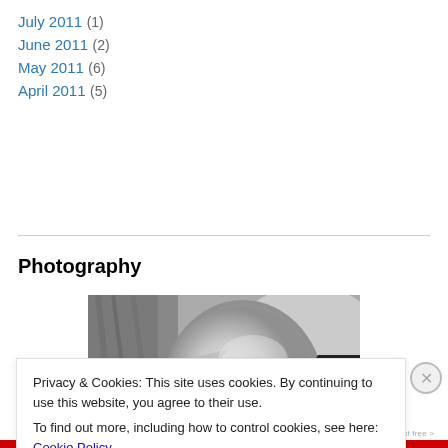July 2011 (1)
June 2011 (2)
May 2011 (6)
April 2011 (5)
Photography
[Figure (photo): Black and white photograph of a bald man's head and shoulder, viewed from the side, looking downward. A dark jacket or bag is visible in the background.]
Privacy & Cookies: This site uses cookies. By continuing to use this website, you agree to their use.
To find out more, including how to control cookies, see here: Cookie Policy
Close and accept